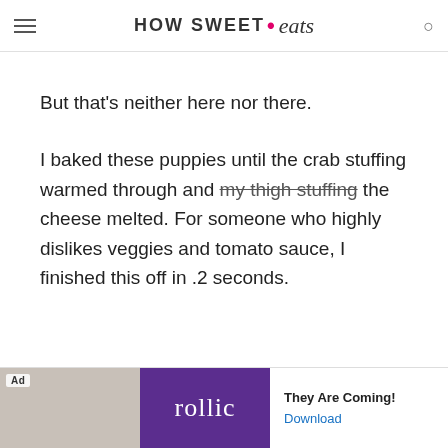HOW SWEET • eats
But that's neither here nor there.
I baked these puppies until the crab stuffing warmed through and my thigh stuffing the cheese melted. For someone who highly dislikes veggies and tomato sauce, I finished this off in .2 seconds.
[Figure (other): Advertisement banner for Rollic game app with text 'They Are Coming!' and a Download link]